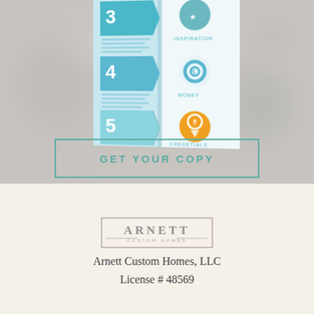[Figure (illustration): Top half: blurred gray bokeh background with a partially visible infographic brochure showing steps 3, 4, 5 with icons (gear, dollar, ribbon) and a teal 'GET YOUR COPY' call-to-action button outlined in teal]
[Figure (logo): Arnett Custom Homes logo in a rectangular border with 'ARNETT' in large spaced letters and 'CUSTOM HOMES' below]
Arnett Custom Homes, LLC
License # 48569